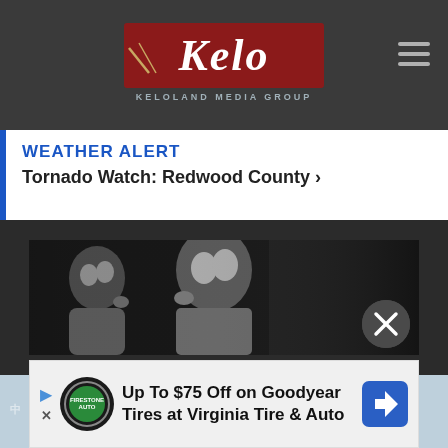[Figure (logo): Keloland Media Group logo on dark navigation bar with hamburger menu icon]
WEATHER ALERT
Tornado Watch: Redwood County ›
[Figure (photo): Black and white banner photo showing a man and child in close conversation]
[Figure (photo): Blurred photo of a man at a press conference backdrop with repeated logos]
[Figure (infographic): Close button (X) overlay circle]
[Figure (infographic): Advertisement banner: Up To $75 Off on Goodyear Tires at Virginia Tire & Auto with Firestone Auto logo and navigation icon]